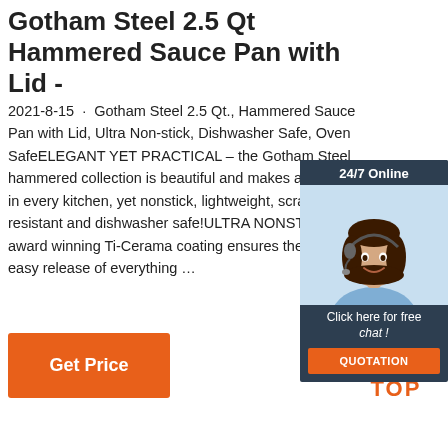Gotham Steel 2.5 Qt Hammered Sauce Pan with Lid -
2021-8-15 · Gotham Steel 2.5 Qt., Hammered Sauce Pan with Lid, Ultra Non-stick, Dishwasher Safe, Oven SafeELEGANT YET PRACTICAL – the Gotham Steel hammered collection is beautiful and makes a statement in every kitchen, yet nonstick, lightweight, scratch resistant and dishwasher safe!ULTRA NONSTICK – our award winning Ti-Cerama coating ensures the ultimate easy release of everything …
[Figure (other): Chat widget showing woman with headset, 24/7 Online header, Click here for free chat text, and QUOTATION button]
Get Price
[Figure (logo): TOP logo with orange dots arranged in triangle above the word TOP in orange]